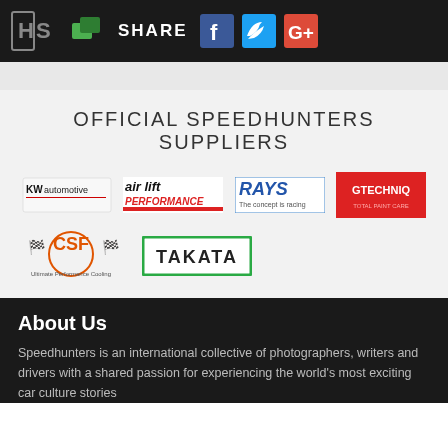SH SHARE [Facebook] [Twitter] [Google+]
OFFICIAL SPEEDHUNTERS SUPPLIERS
[Figure (logo): KW automotive logo]
[Figure (logo): Air Lift Performance logo]
[Figure (logo): RAYS - The concept is racing logo]
[Figure (logo): Gtechniq logo on red background]
[Figure (logo): CSF Ultimate Performance Cooling logo]
[Figure (logo): Takata logo with green border]
About Us
Speedhunters is an international collective of photographers, writers and drivers with a shared passion for experiencing the world's most exciting car culture stories...